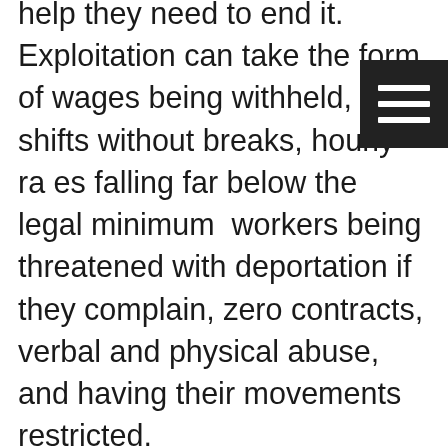help they need to end it. Exploitation can take the form of wages being withheld, long shifts without breaks, hourly rates falling far below the legal minimum, workers being threatened with deportation if they complain, zero contracts, verbal and physical abuse, and having their movements restricted.
We are working to put an end to this type of exploitation and see that there are many challenges that lie ahead of use. The biggest challenge is to get people to come and talk to us to reveal the exploitation that they are incurring. Workers may remain silent for a number of reasons. In some areas of New Zealand employment opportunities are scarce so there is a fear that their job and those of their colleagues will be taken away. Migrants who tolerate this exploitative treatment are often seeking residency and fear the threats of deportation from their employers should they complain.